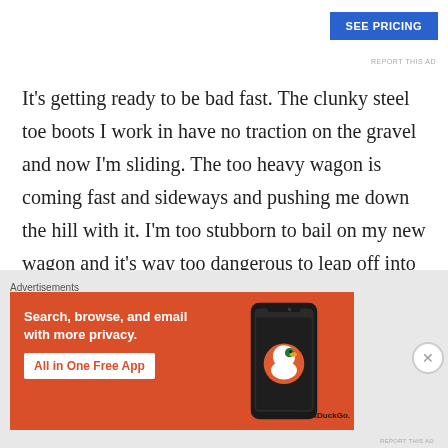[Figure (other): Blue 'SEE PRICING' advertisement button in top-right area]
REPORT THIS AD
It's getting ready to be bad fast. The clunky steel toe boots I work in have no traction on the gravel and now I'm sliding. The too heavy wagon is coming fast and sideways and pushing me down the hill with it. I'm too stubborn to bail on my new wagon and it's way too dangerous to leap off into my “yard” so I skid me and the wagon over to the
Advertisements
[Figure (advertisement): DuckDuckGo advertisement banner on orange background. Text reads: Search, browse, and email with more privacy. All in One Free App. Shows a phone with DuckDuckGo logo.]